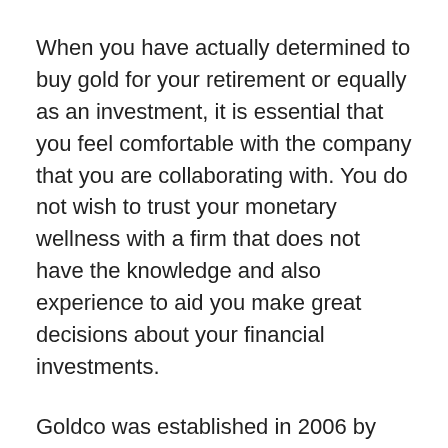When you have actually determined to buy gold for your retirement or equally as an investment, it is essential that you feel comfortable with the company that you are collaborating with. You do not wish to trust your monetary wellness with a firm that does not have the knowledge and also experience to aid you make great decisions about your financial investments.
Goldco was established in 2006 by Trevor Gerszt as a gold trading platform. Mr. Gerszt was primarily handling gold coins for straight sales as financial investments. The company likewise provided gold bars and access to silver coins and also metals.